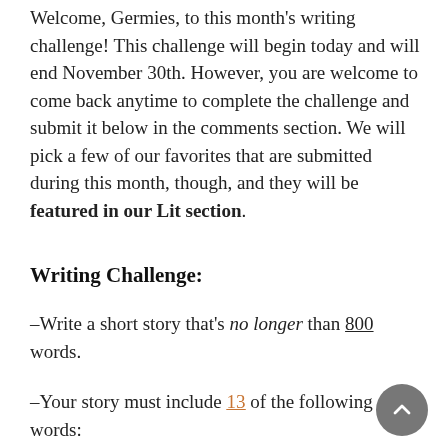Welcome, Germies, to this month's writing challenge! This challenge will begin today and will end November 30th. However, you are welcome to come back anytime to complete the challenge and submit it below in the comments section. We will pick a few of our favorites that are submitted during this month, though, and they will be featured in our Lit section.
Writing Challenge:
–Write a short story that's no longer than 800 words.
–Your story must include 13 of the following words: